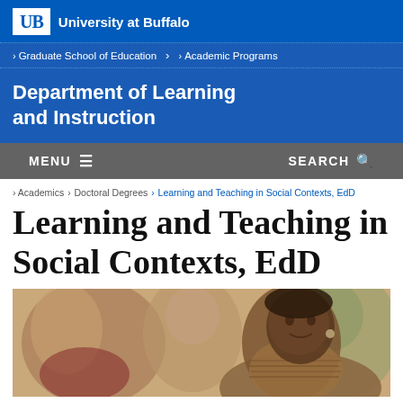University at Buffalo
Graduate School of Education › Academic Programs
Department of Learning and Instruction
MENU  SEARCH
› Academics › Doctoral Degrees › Learning and Teaching in Social Contexts, EdD
Learning and Teaching in Social Contexts, EdD
[Figure (photo): Students in a classroom setting; a Black woman in the foreground smiling, other students visible in the background out of focus.]